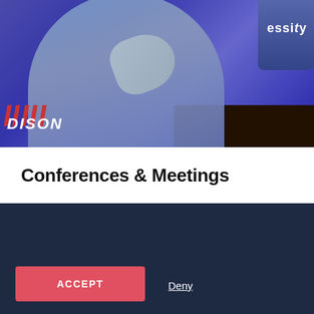[Figure (photo): Conference or panel discussion photo showing a person in a light blue/grey long-sleeve top gesturing with their hand, in front of a blue-lit banner background with 'essity' branding visible, and a dark table with glassware on the right side.]
Conferences & Meetings
We use cookies to ensure that we give you the best experience on our website. The use of cookies on our website is to analyse it’s performance within Google Analytics.
ACCEPT
Deny